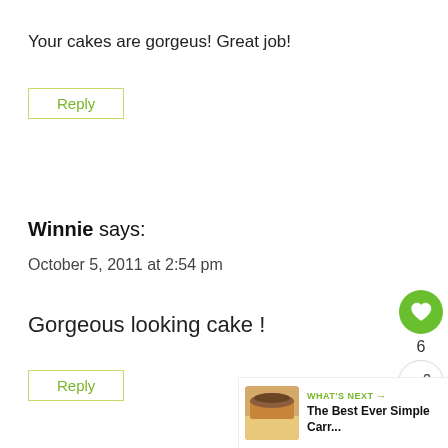Your cakes are gorgeus! Great job!
Reply
Winnie says:
October 5, 2011 at 2:54 pm
Gorgeous looking cake !
Reply
[Figure (infographic): Like button widget with heart icon showing count 6, and share button below]
[Figure (infographic): What's Next banner with carrot cake thumbnail image and text 'The Best Ever Simple Carr...']